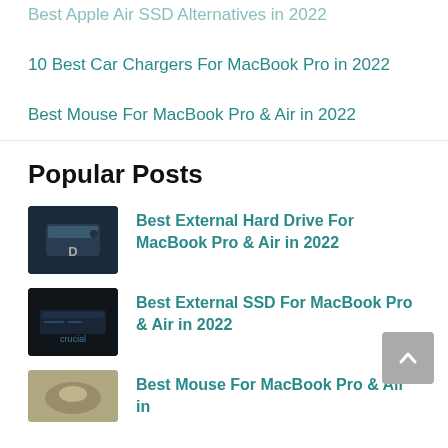Best Apple Air SSD Alternatives in 2022
10 Best Car Chargers For MacBook Pro in 2022
Best Mouse For MacBook Pro & Air in 2022
Popular Posts
Best External Hard Drive For MacBook Pro & Air in 2022
Best External SSD For MacBook Pro & Air in 2022
Best Mouse For MacBook Pro & Air in